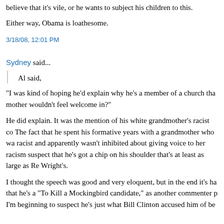believe that it's vile, or he wants to subject his children to this.
Either way, Obama is loathesome.
3/18/08, 12:01 PM
Sydney said...
Al said,
"I was kind of hoping he'd explain why he's a member of a church that his mother wouldn't feel welcome in?"
He did explain. It was the mention of his white grandmother's racist co. The fact that he spent his formative years with a grandmother who was racist and apparently wasn't inhibited about giving voice to her racism suspect that he's got a chip on his shoulder that's at least as large as Re Wright's.
I thought the speech was good and very eloquent, but in the end it's ha that he's a "To Kill a Mockingbird candidate," as another commenter p I'm beginning to suspect he's just what Bill Clinton accused him of be